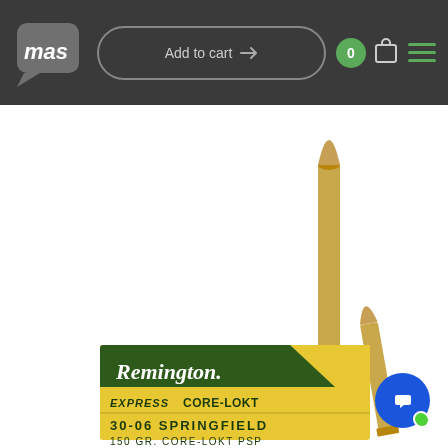$695.00
[Figure (screenshot): E-commerce website navigation bar with MAS logo on the left, an 'Add to cart' button in the center, a green circular badge showing '0', a shopping bag icon, and a green hamburger menu icon on the right. Dark gray background.]
[Figure (photo): Remington Express Core-Lokt 30-06 Springfield 150 GR. ammunition product photo showing a yellow and green box with two rifle cartridges/bullets standing upright next to the box.]